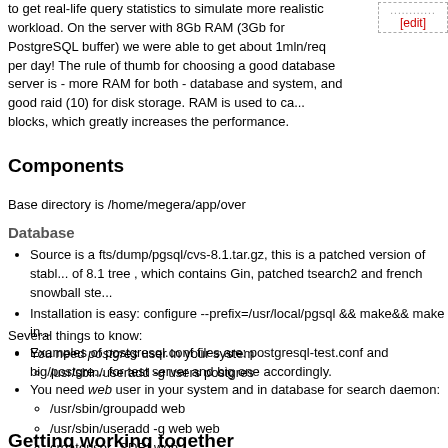to get real-life query statistics to simulate more realistic workload. On the server with 8Gb RAM (3Gb for PostgreSQL buffer) we were able to get about 1mln/req per day! The rule of thumb for choosing a good database server is - more RAM for both - database and system, and good raid (10) for disk storage. RAM is used to cache blocks, which greatly increases the performance.
Components
Base directory is /home/megera/app/over
Database
Source is a fts/dump/pgsql/cvs-8.1.tar.gz, this is a patched version of stable of 8.1 tree , which contains Gin, patched tsearch2 and french snowball ste...
Installation is easy: configure --prefix=/usr/local/pgsql && make&& make in...
Examples of postgresql.conf files are: postgresql-test.conf and big/postgre... for test server and big one accordingly.
Several things to know:
You need postgres user in your system
  /usr/sbin/useradd -g users postgres
You need web user in your system and in database for search daemon:
  /usr/sbin/groupadd web
  /usr/sbin/useradd -g web web
  createuser -SDRI web
Getting working together